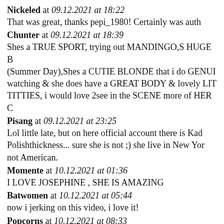Nickeled at 09.12.2021 at 18:22
That was great, thanks pepi_1980! Certainly was auth
Chunter at 09.12.2021 at 18:39
Shes a TRUE SPORT, trying out MANDINGO,S HUGE B (Summer Day),Shes a CUTIE BLONDE that i do GENUI watching & she does have a GREAT BODY & lovely LIT TITTIES, i would love 2see in the SCENE more of HER C
Pisang at 09.12.2021 at 23:25
Lol little late, but on here official account there is Kad Polishthickness... sure she is not ;) she live in New Yor not American.
Momente at 10.12.2021 at 01:36
I LOVE JOSEPHINE , SHE IS AMAZING
Batwomen at 10.12.2021 at 05:44
now i jerking on this video, i love it!
Popcorns at 10.12.2021 at 08:33
03:34 super!
Julole at 10.12.2021 at 10:23
mmmmmm lucky bitch!